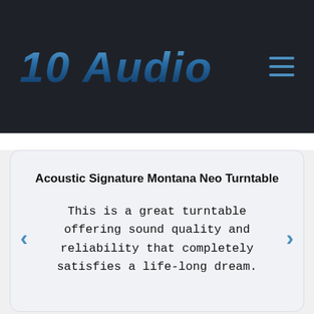10 Audio
Acoustic Signature Montana Neo Turntable
This is a great turntable offering sound quality and reliability that completely satisfies a life-long dream.